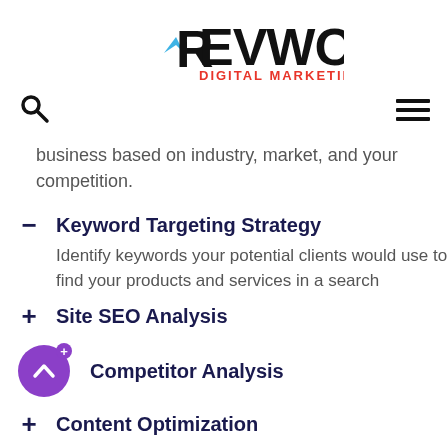REVWORX DIGITAL MARKETING
business based on industry, market, and your competition.
– Keyword Targeting Strategy
Identify keywords your potential clients would use to find your products and services in a search
+ Site SEO Analysis
+ Competitor Analysis
+ Content Optimization